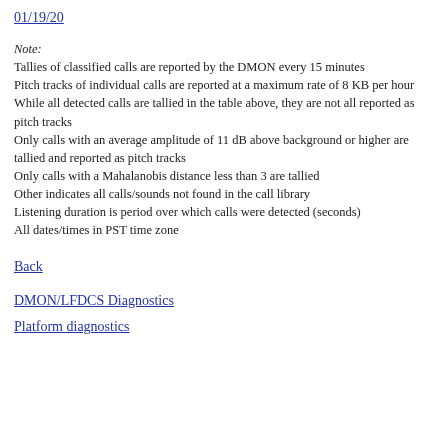01/19/20
Note:
Tallies of classified calls are reported by the DMON every 15 minutes
Pitch tracks of individual calls are reported at a maximum rate of 8 KB per hour
While all detected calls are tallied in the table above, they are not all reported as pitch tracks
Only calls with an average amplitude of 11 dB above background or higher are tallied and reported as pitch tracks
Only calls with a Mahalanobis distance less than 3 are tallied
Other indicates all calls/sounds not found in the call library
Listening duration is period over which calls were detected (seconds)
All dates/times in PST time zone
Back
DMON/LFDCS Diagnostics
Platform diagnostics